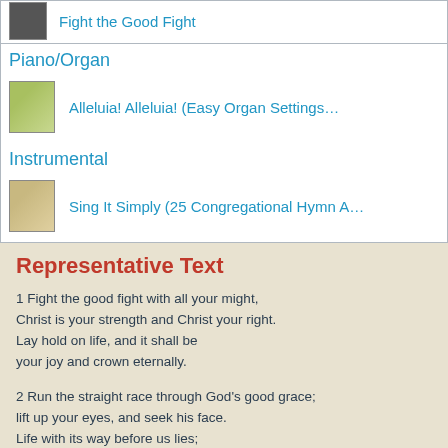Fight the Good Fight
Piano/Organ
Alleluia! Alleluia! (Easy Organ Settings…
Instrumental
Sing It Simply (25 Congregational Hymn A…
Representative Text
1 Fight the good fight with all your might,
Christ is your strength and Christ your right.
Lay hold on life, and it shall be
your joy and crown eternally.
2 Run the straight race through God's good grace;
lift up your eyes, and seek his face.
Life with its way before us lies;
Christ is the path and Christ the prize.
3 Cast care aside, lean on your guide;